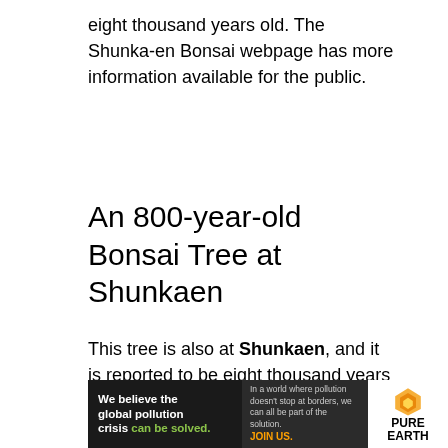eight thousand years old. The Shunka-en Bonsai webpage has more information available for the public.
An 800-year-old Bonsai Tree at Shunkaen
This tree is also at Shunkaen, and it is reported to be eight thousand years old, which is in the group of most expensive Bonsai trees.
Master Kobayashi is the owner of it, and he is one of the most known Bonsai artists in the world. He has been practicing the art for over 30 years, and won the prestigious Prime Minister award four times in Japan.
[Figure (infographic): Pure Earth advertisement banner: 'We believe the global pollution crisis can be solved.' with JOIN US call to action and Pure Earth logo.]